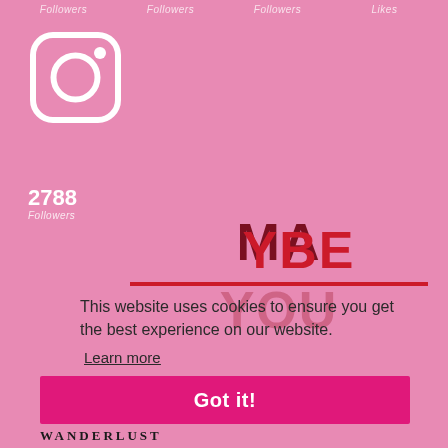Followers  Followers  Followers  Likes
[Figure (logo): Instagram logo icon in white outline style on pink background]
2788
Followers
[Figure (other): MAYBE YOU text in large bold dark red/red lettering on pink background]
This website uses cookies to ensure you get the best experience on our website.
Learn more
Got it!
WANDERLUST